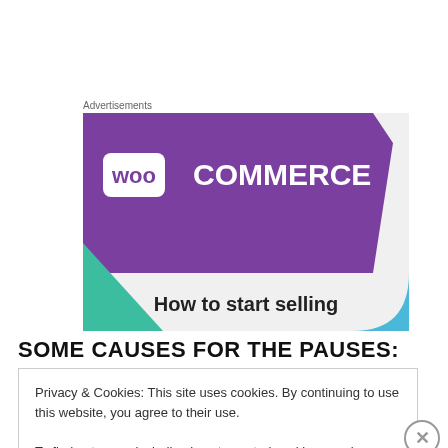Advertisements
[Figure (illustration): WooCommerce advertisement banner with purple background showing WooCommerce logo and text 'How to start selling']
SOME CAUSES FOR THE PAUSES:
Privacy & Cookies: This site uses cookies. By continuing to use this website, you agree to their use.
To find out more, including how to control cookies, see here: Cookie Policy
Close and accept